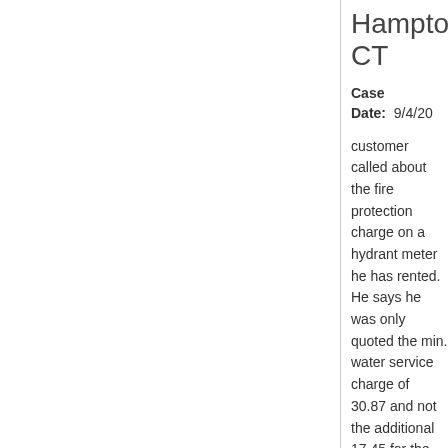Hampton CT
Case Date: 9/4/20
customer called about the fire protection charge on a hydrant meter he has rented. He says he was only quoted the min. water service charge of 30.87 and not the additional 17.45 for the fire